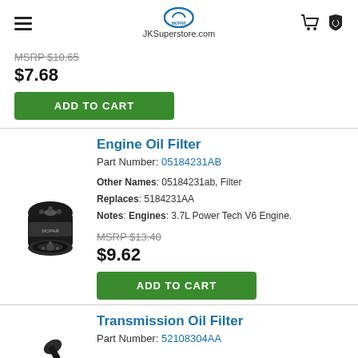JKSuperstore.com
MSRP $10.65
$7.68
ADD TO CART
Engine Oil Filter
Part Number: 05184231AB
Other Names: 05184231ab, Filter
Replaces: 5184231AA
Notes: Engines: 3.7L Power Tech V6 Engine.
MSRP $13.40
$9.62
ADD TO CART
Transmission Oil Filter
Part Number: 52108304AA